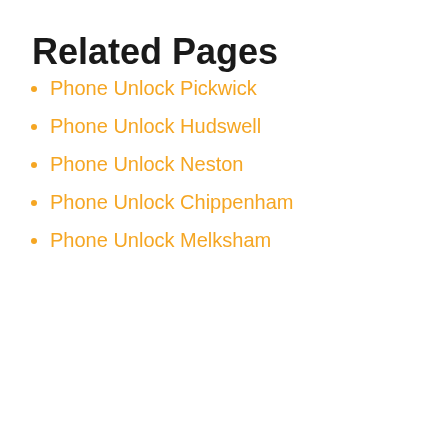Related Pages
Phone Unlock Pickwick
Phone Unlock Hudswell
Phone Unlock Neston
Phone Unlock Chippenham
Phone Unlock Melksham